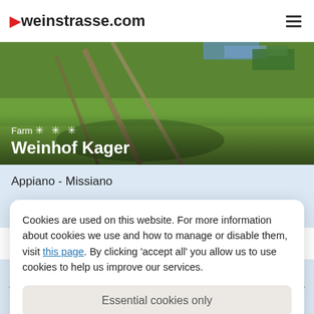weinstrasse.com
[Figure (photo): Outdoor farm scene on green grass with lawn structure/equipment visible]
Farm ✳ ✳ ✳ Weinhof Kager
Appiano - Missiano
www.weinhofkager.com ↗
Cookies are used on this website. For more information about cookies we use and how to manage or disable them, visit this page. By clicking 'accept all' you allow us to use cookies to help us improve our services.
Essential cookies only
Accept all
★ ★ ★ Hotel Elefant Balmy summer nights and a glass of wine...